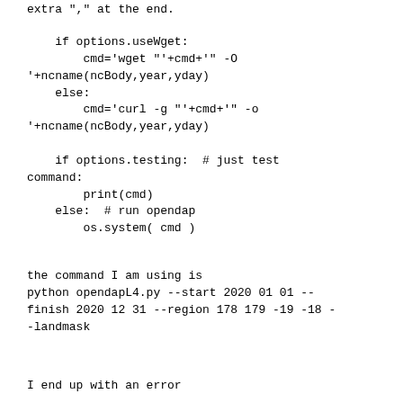extra "," at the end.
if options.useWget:
        cmd='wget "'+cmd+'" -O '+ncname(ncBody,year,yday)
    else:
        cmd='curl -g "'+cmd+'" -o '+ncname(ncBody,year,yday)

    if options.testing:  # just test command:
        print(cmd)
    else:  # run opendap
        os.system( cmd )
the command I am using is
python opendapL4.py --start 2020 01 01 --finish 2020 12 31 --region 178 179 -19 -18 --landmask
I end up with an error